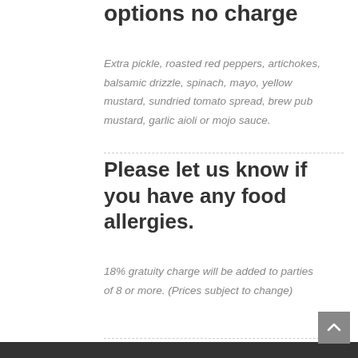options no charge
Extra pickle, roasted red peppers, artichokes, balsamic drizzle, spinach, mayo, yellow mustard, sundried tomato spread, brew pub mustard, garlic aioli or mojo sauce.
Please let us know if you have any food allergies.
18% gratuity charge will be added to parties of 8 or more. (Prices subject to change)